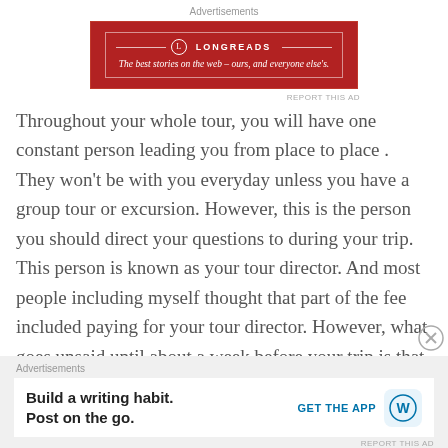Advertisements
[Figure (logo): Longreads advertisement banner: red background with logo and tagline 'The best stories on the web – ours, and everyone else's.']
Throughout your whole tour, you will have one constant person leading you from place to place . They won't be with you everyday unless you have a group tour or excursion. However, this is the person you should direct your questions to during your trip. This person is known as your tour director. And most people including myself thought that part of the fee included paying for your tour director. However, what goes unsaid until about a week before your trip is that you still have to tip your tour director. Again, most of
Advertisements
[Figure (screenshot): WordPress app advertisement: 'Build a writing habit. Post on the go.' with GET THE APP button and WordPress logo icon.]